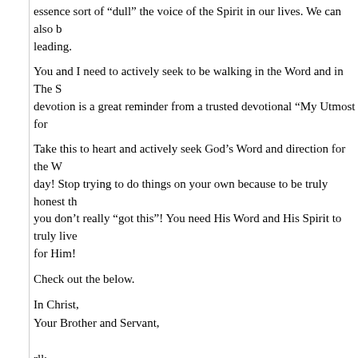essence sort of "dull" the voice of the Spirit in our lives. We can also b leading.
You and I need to actively seek to be walking in the Word and in The S devotion is a great reminder from a trusted devotional "My Utmost for
Take this to heart and actively seek God's Word and direction for the W day! Stop trying to do things on your own because to be truly honest th you don't really "got this"! You need His Word and His Spirit to truly live for Him!
Check out the below.
In Christ,
Your Brother and Servant,

rlk
"Do not quench the Spirit" —1 Thessalonians 5:19
By Oswald Chambers
http://utmost.org/do-not-quench-the-spirit/
The voice of the Spirit of God is as gentle as a summer breeze— so g living in complete fellowship and oneness with God, you will never hea and restraint that the Spirit gives comes to us in the most amazingly ge not sensitive enough to detect His voice, you will quench it, and your s This sense of restraint will always come as a "still small voice" (1 Kings one except a saint of God will notice it.
Beware if in sharing your personal testimony you continually have to